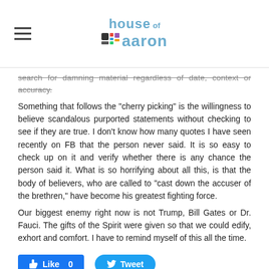house of aaron
search for damning material regardless of date, context or accuracy.
Something that follows the "cherry picking" is the willingness to believe scandalous purported statements without checking to see if they are true. I don't know how many quotes I have seen recently on FB that the person never said. It is so easy to check up on it and verify whether there is any chance the person said it. What is so horrifying about all this, is that the body of believers, who are called to "cast down the accuser of the brethren," have become his greatest fighting force.
Our biggest enemy right now is not Trump, Bill Gates or Dr. Fauci. The gifts of the Spirit were given so that we could edify, exhort and comfort. I have to remind myself of this all the time.
[Figure (other): Like 0 and Tweet social sharing buttons]
0 Comments